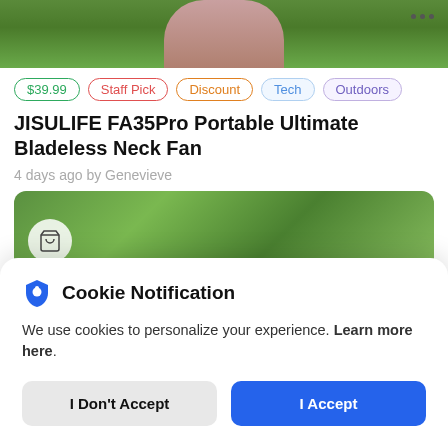[Figure (photo): Top portion of product listing page showing green leafy background with partial view of a person wearing a pink/mauve top, with three-dot menu icon in top right]
$39.99  Staff Pick  Discount  Tech  Outdoors
JISULIFE FA35Pro Portable Ultimate Bladeless Neck Fan
4 days ago by Genevieve
[Figure (photo): Product image area showing green leafy/bush background with a shopping cart icon circle on the left]
Cookie Notification
We use cookies to personalize your experience. Learn more here.
I Don't Accept
I Accept